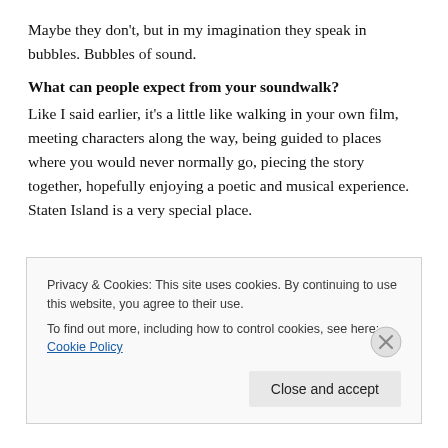Maybe they don't, but in my imagination they speak in bubbles. Bubbles of sound.
What can people expect from your soundwalk?
Like I said earlier, it's a little like walking in your own film, meeting characters along the way, being guided to places where you would never normally go, piecing the story together, hopefully enjoying a poetic and musical experience. Staten Island is a very special place.
Privacy & Cookies: This site uses cookies. By continuing to use this website, you agree to their use.
To find out more, including how to control cookies, see here: Cookie Policy
Close and accept